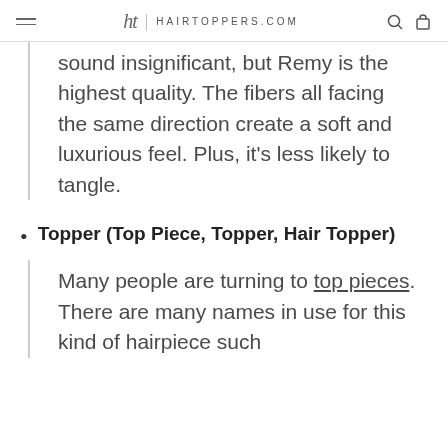ht | HAIRTOPPERS.COM
sound insignificant, but Remy is the highest quality. The fibers all facing the same direction create a soft and luxurious feel. Plus, it’s less likely to tangle.
Topper (Top Piece, Topper, Hair Topper)
Many people are turning to top pieces. There are many names in use for this kind of hairpiece such